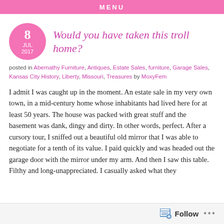MENU
Would you have taken this troll home?
posted in Abernathy Furniture, Antiques, Estate Sales, furniture, Garage Sales, Kansas City History, Liberty, Missouri, Treasures by MoxyFem
I admit I was caught up in the moment. An estate sale in my very own town, in a mid-century home whose inhabitants had lived here for at least 50 years. The house was packed with great stuff and the basement was dank, dingy and dirty. In other words, perfect. After a cursory tour, I sniffed out a beautiful old mirror that I was able to negotiate for a tenth of its value. I paid quickly and was headed out the garage door with the mirror under my arm. And then I saw this table. Filthy and long-unappreciated. I casually asked what they
Follow